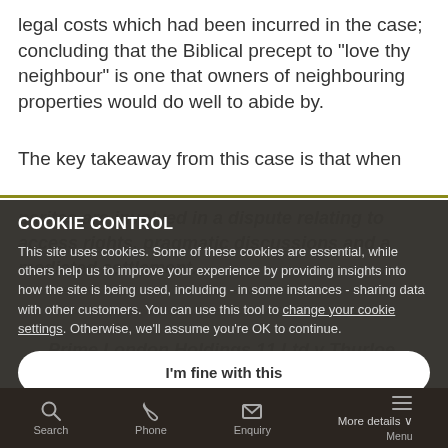legal costs which had been incurred in the case; concluding that the Biblical precept to "love thy neighbour" is one that owners of neighbouring properties would do well to abide by.
The key takeaway from this case is that when
parites are involved in a dispute relating to access rights, pragmatic discussions and a mediated settlement...
COOKIE CONTROL
This site uses cookies. Some of these cookies are essential, while others help us to improve your experience by providing insights into how the site is being used, including - in some instances - sharing data with other customers. You can use this tool to change your cookie settings. Otherwise, we'll assume you're OK to continue.
I'm fine with this
Prime London Holdings 11 Ltd v Thurloe
Search   Phone   Enquiry   More details